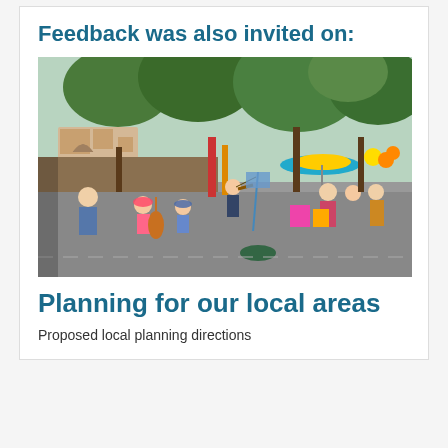Feedback was also invited on:
[Figure (photo): Outdoor community event scene with children playing string instruments (cello, violin) while adults look on; colourful umbrellas and market stalls visible in background on a paved street lined with trees and buildings.]
Planning for our local areas
Proposed local planning directions